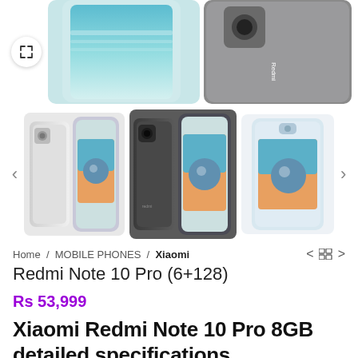[Figure (photo): Top portion of Redmi Note 10 Pro phone product images showing front and back of the phone in dark/grey color, partially cropped at top. Expand icon button on left.]
[Figure (photo): Row of three Xiaomi Redmi Note 10 Pro phone thumbnail images: silver/grey variant, dark grey/graphite variant, and white/glacial blue variant. Left and right navigation arrows on sides.]
Home / MOBILE PHONES / Xiaomi
Redmi Note 10 Pro (6+128)
Rs 53,999
Xiaomi Redmi Note 10 Pro 8GB detailed specifications